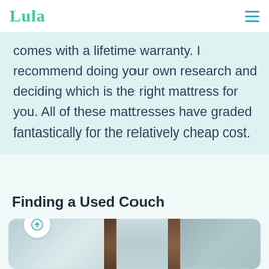Lula
comes with a lifetime warranty. I recommend doing your own research and deciding which is the right mattress for you. All of these mattresses have graded fantastically for the relatively cheap cost.
Finding a Used Couch
[Figure (photo): A blurred outdoor window scene with vertical dark brown window frames and blurry trees visible through the glass in the background.]